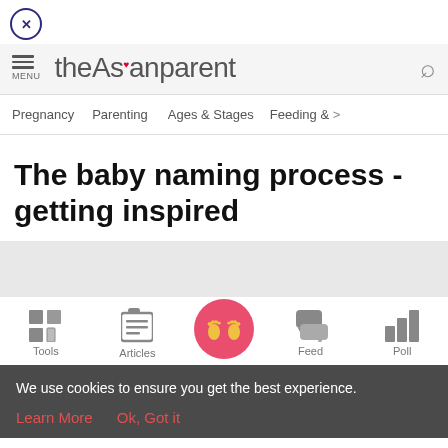theAsianparent — navigation header with menu, brand name, search
Pregnancy  Parenting  Ages & Stages  Feeding &
The baby naming process - getting inspired
[Figure (screenshot): Bottom navigation bar with Tools, Articles, central baby-feet button, Feed, Poll icons]
We use cookies to ensure you get the best experience. Learn More  Ok, Got it